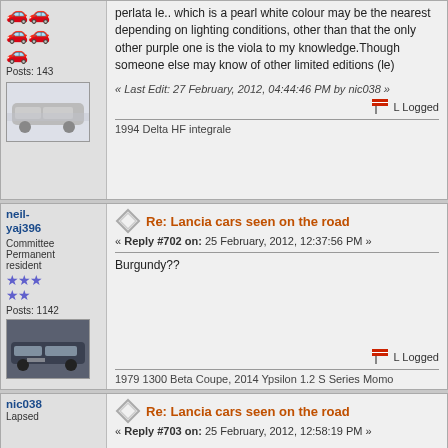perlata le.. which is a pearl white colour may be the nearest depending on lighting conditions, other than that the only other purple one is the viola to my knowledge.Though someone else may know of other limited editions (le)
« Last Edit: 27 February, 2012, 04:44:46 PM by nic038 »
Logged
1994 Delta HF integrale
neil-yaj396
Committee Permanent resident
Posts: 1142
Re: Lancia cars seen on the road
« Reply #702 on: 25 February, 2012, 12:37:56 PM »
Burgundy??
Logged
1979 1300 Beta Coupe, 2014 Ypsilon 1.2 S Series Momo
nic038
Lapsed
Re: Lancia cars seen on the road
« Reply #703 on: 25 February, 2012, 12:58:19 PM »